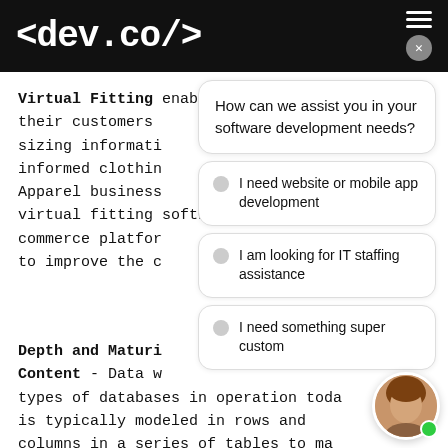<dev.co/>
Virtual Fitting enables apparel their customers sizing informati informed clothin Apparel business virtual fitting software into their e-commerce platfor to improve the c
How can we assist you in your software development needs?
I need website or mobile app development
I am looking for IT staffing assistance
I need something super custom
Depth and Maturi Content - Data w types of databases in operation toda is typically modeled in rows and columns in a series of tables to ma